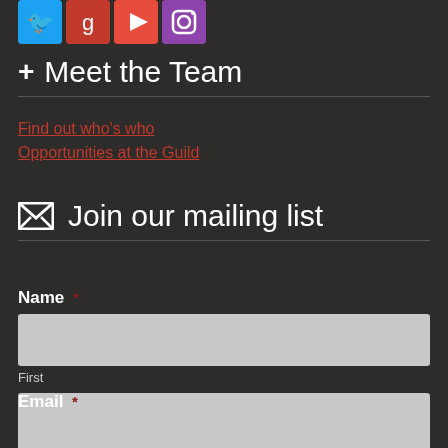[Figure (other): Social media icon buttons: Twitter (blue), Google (red), YouTube (red), Instagram (purple)]
+ Meet the Team
Find out who's who
Opportunities at the Guild
✉ Join our mailing list
Name *
First
Last
Email *